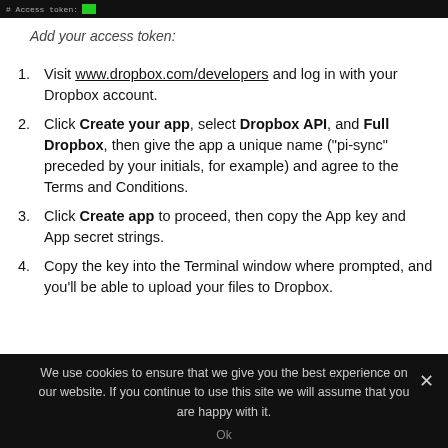[Figure (screenshot): Dark terminal bar showing '# Access token:' label with green block]
Add your access token:
Visit www.dropbox.com/developers and log in with your Dropbox account.
Click Create your app, select Dropbox API, and Full Dropbox, then give the app a unique name ("pi-sync" preceded by your initials, for example) and agree to the Terms and Conditions.
Click Create app to proceed, then copy the App key and App secret strings.
Copy the key into the Terminal window where prompted, and you'll be able to upload your files to Dropbox.
We use cookies to ensure that we give you the best experience on our website. If you continue to use this site we will assume that you are happy with it.